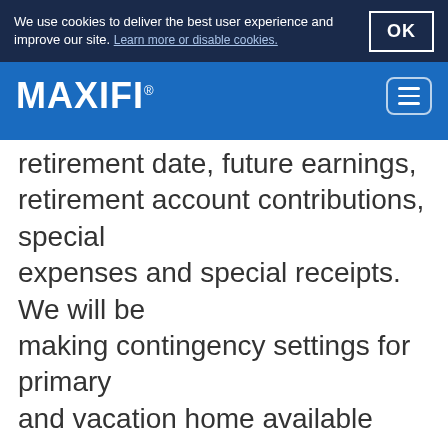We use cookies to deliver the best user experience and improve our site. Learn more or disable cookies. OK
MAXIFI®
retirement date, future earnings, retirement account contributions, special expenses and special receipts. We will be making contingency settings for primary and vacation home available soon.
For more details about this change, see the User Manual.
Improved